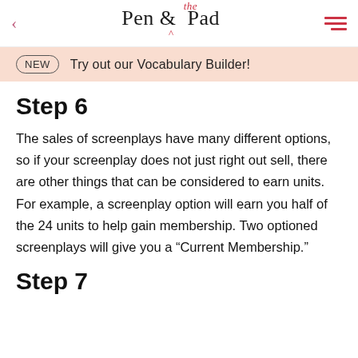Pen & the Pad
NEW  Try out our Vocabulary Builder!
Step 6
The sales of screenplays have many different options, so if your screenplay does not just right out sell, there are other things that can be considered to earn units. For example, a screenplay option will earn you half of the 24 units to help gain membership. Two optioned screenplays will give you a “Current Membership.”
Step 7